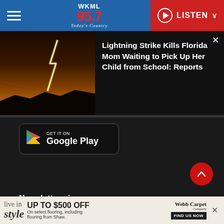[Figure (screenshot): WKML 95.7 Today's Country radio station website header with navigation hamburger menu, logo, and red LISTEN button]
[Figure (photo): Lightning strike over dark landscape with orange sky at dusk]
Lightning Strike Kills Florida Mom Waiting to Pick Up Her Child from School: Reports
[Figure (logo): Get it on Google Play button]
Newsletter sign up
Don't miss on pre-sales, member-only contests and member only events.
[Figure (infographic): Advertisement banner: live in style UP TO $500 OFF On select flooring, including flooring from Shaw. Webb Carpet Company FIND US NOW]